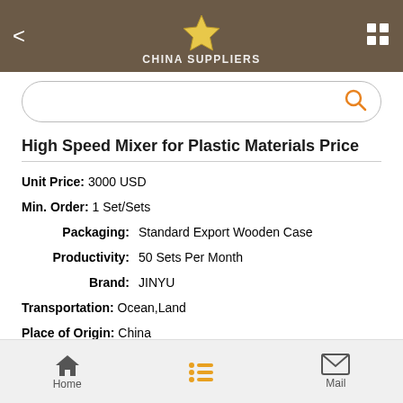CHINA SUPPLIERS
[Figure (screenshot): Search bar with orange search icon on right]
High Speed Mixer for Plastic Materials Price
Unit Price: 3000 USD
Min. Order: 1 Set/Sets
Packaging: Standard Export Wooden Case
Productivity: 50 Sets Per Month
Brand: JINYU
Transportation: Ocean,Land
Place of Origin: China
Supply Ability: 50 sets/month
Home   Mail